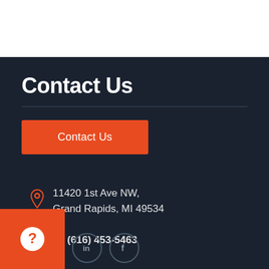Contact Us
Contact Us
11420 1st Ave NW, Grand Rapids, MI 49534
+1 (616) 453-5463
[Figure (illustration): Orange help/question mark widget at bottom left, with LinkedIn and Facebook social icon circles]
[Figure (illustration): LinkedIn circle icon]
[Figure (illustration): Facebook circle icon]